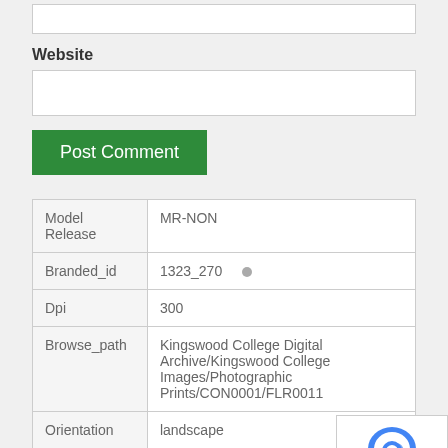Website
[Figure (screenshot): Post Comment green button]
| Model Release | MR-NON |
| Branded_id | 1323_270 |
| Dpi | 300 |
| Browse_path | Kingswood College Digital Archive/Kingswood College Images/Photographic Prints/CON0001/FLR0011 |
| Orientation | landscape |
| Property Release | PR-NON |
| Royalty Free | no |